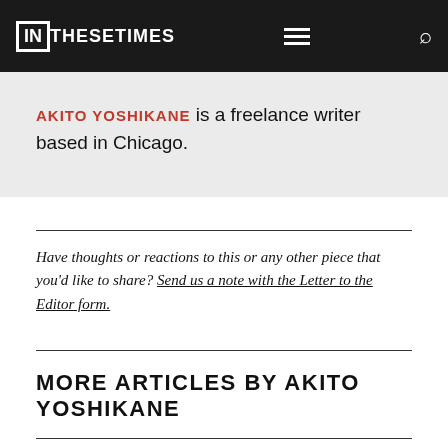IN THESE TIMES
AKITO YOSHIKANE is a freelance writer based in Chicago.
Have thoughts or reactions to this or any other piece that you'd like to share? Send us a note with the Letter to the Editor form.
MORE ARTICLES BY AKITO YOSHIKANE